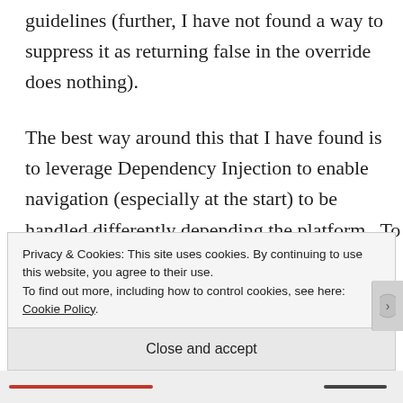guidelines (further, I have not found a way to suppress it as returning false in the override does nothing).
The best way around this that I have found is to leverage Dependency Injection to enable navigation (especially at the start) to be handled differently depending the platform.  To that end, I defined the IStartupPageHelper and IPageHelper
Privacy & Cookies: This site uses cookies. By continuing to use this website, you agree to their use.
To find out more, including how to control cookies, see here: Cookie Policy.
Close and accept